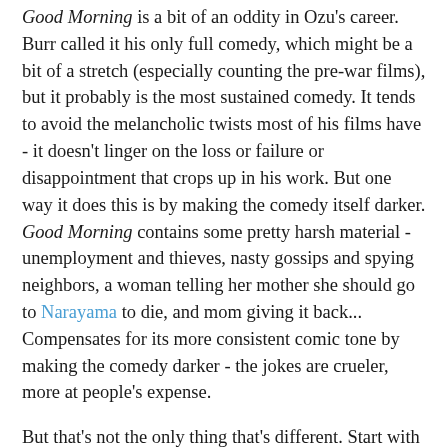Good Morning is a bit of an oddity in Ozu's career. Burr called it his only full comedy, which might be a bit of a stretch (especially counting the pre-war films), but it probably is the most sustained comedy. It tends to avoid the melancholic twists most of his films have - it doesn't linger on the loss or failure or disappointment that crops up in his work. But one way it does this is by making the comedy itself darker. Good Morning contains some pretty harsh material - unemployment and thieves, nasty gossips and spying neighbors, a woman telling her mother she should go to Narayama to die, and mom giving it back... Compensates for its more consistent comic tone by making the comedy darker - the jokes are crueler, more at people's expense.
But that's not the only thing that's different. Start with the music - the score is by Toshiro Mayuzumi - who scored Imamura's early films, as well as a few others for big directors - Ichikawa, a Naruse or so... That's a departure - both in his style, which is a kind of breezy jazz, with streaks of experimentation (especially in the Imamura's) and the occasional comic sound effect - and in the fact that the music actually seems integrated into the film. Ozu's soundtracks